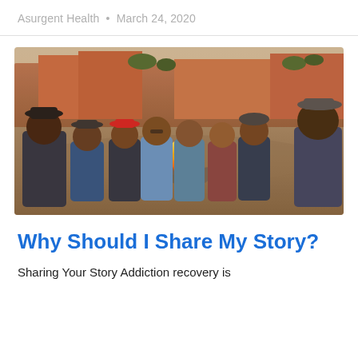Asurgent Health • March 24, 2020
[Figure (photo): Group of people sitting around a campfire in an outdoor desert/canyon setting, with red rock cliffs and trees in the background. Several men and a woman are seated in a circle around a stone fire ring with flames.]
Why Should I Share My Story?
Sharing Your Story Addiction recovery is